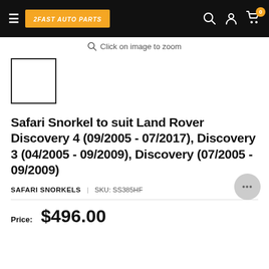2FAST AUTO PARTS
Click on image to zoom
[Figure (photo): Empty product thumbnail placeholder box]
Safari Snorkel to suit Land Rover Discovery 4 (09/2005 - 07/2017), Discovery 3 (04/2005 - 09/2009), Discovery (07/2005 - 09/2009)
SAFARI SNORKELS | SKU: SS385HF
Price: $496.00